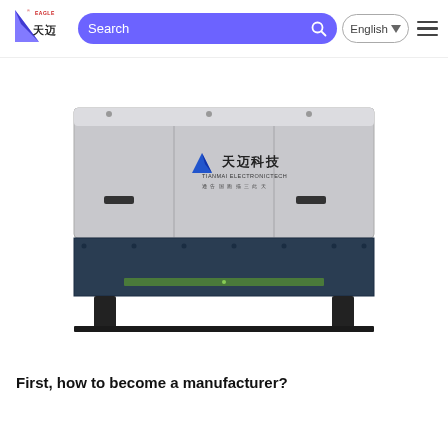Eagle 天迈 | Search | English | Menu
[Figure (photo): Industrial electronic equipment unit with Tianmai (天迈科技) branding — a large rectangular metal enclosure with silver/grey upper section and dark blue lower section, featuring the Eagle/天迈 logo and Chinese text on the front panel, with mounting feet at the bottom.]
First, how to become a manufacturer?